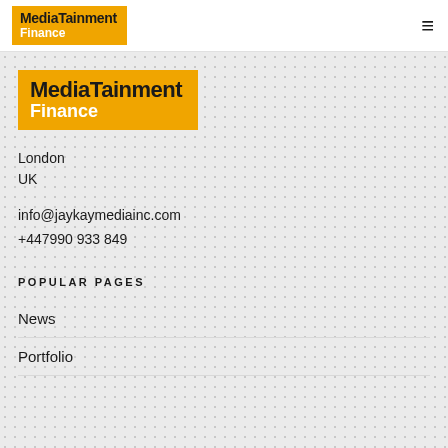MediaTainment Finance
[Figure (logo): MediaTainment Finance logo — orange badge with bold black 'MediaTainment' and white 'Finance' text]
London
UK
info@jaykaymediainc.com
+447990 933 849
POPULAR PAGES
News
Portfolio